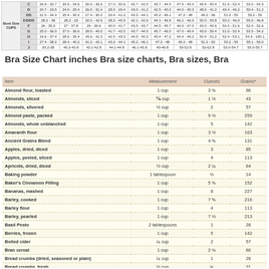|  | C | D | DD | E/DDD | F | G | H | I | J |
| --- | --- | --- | --- | --- | --- | --- | --- | --- | --- |
| Bust Size CUPS | 29.9-32.7 | 30.9-34.6 | 26.0-36.6 | 27.0-30.6 | 42.7-42.5 | 43.7-44.5 | 47.5-40.4 | 49.5-50.4 | 51.0-52.4 | 53.0-54.3 |
|  | 20.7-23.5 | 24.0-25.4 | 26.0-31.4 | 28.0-29.4 | 43.0-41.2 | 42.5-40.2 | 44.0-40.3 | 48.0-41.2 | 49.4-49.2 | 50.4-51.2 | 42.4-52.1 | 54.7-55.1 |
|  | 21.5-34.3 | 25.4-30.2 | 27.4-30.2 | 29.4-41.2 | 43.3-44.1 | 45.2-46.1 | 47.2-48 | 49.2-56 | 51.2-55 | 53.2-55 | 53.1-53.9 | 55.1-55.9 |
|  | 28.2-36 | 28.2-23 | 32.0-42.9 | 38.2-45.9 | 42.1-42.9 | 44.1-46.9 | 46.1-46.9 | 50.0-50.8 | 50.2-46.0 | 55.0-46.8 | 55.4-46.8 | 55.4-47.0 |
|  | 26-35.0 | 27-37.8 | 29-39.6 | 40.0-41.7 | 43.5-43.7 | 44.5-45.7 | 46.9-47.0 | 43.0-40.6 | 50.0-51.6 | 52.0-52.6 | 54.7-55.5 | 55.7-57.5 |
|  | 25.0-36.0 | 27.0-36.6 | 28.0-40.0 | 41.7-42.5 | 43.7-44.5 | 45.7-46.5 | 47.0-40.4 | 43.0-50.4 | 51.0-52.4 | 53.5-54.2 | 55.5-56.5 | 57.0-36.5 |
|  | 19.6-37.4 | 28.6-39.4 | 43.6-41.3 | 42.5-43.3 | 44.5-45.3 | 45.4-47.2 | 44.4-49.2 | 50.4-51.2 | 52.4-53.1 | 54.3-195.1 | 56.3-57.1 | 58.3-59.1 |
|  | 27.4-38.2 | 28.4-40.2 | 41.2-42.1 | 43.2-44.1 | 45.2-46.1 | 47.2-48 | 49.2-48 | 51.2-52 | 53.2-55 | 55.1-56.0 | 57.1-57.9 | 58.1-50.9 |
|  | 30.2-28 | 40.2-40.8 | 42.1-42.8 | 44.1-44.8 | 46.1-45.8 | 40-46.8 | 50-52.8 | 52-62.8 | 53.0-54.7 | 55.0-55.7 | 57.0-60.7 | 59.0-60.8 |
Bra Size Chart inches Bra size charts, Bra sizes, Bra
| Item | Measurement | Ounces | Grams* |
| --- | --- | --- | --- |
| Almond flour, toasted | 1 cup | 3 ⅜ | 96 |
| Almonds, sliced | ⅓ cup | 1 ½ | 43 |
| Almonds, slivered | ½ cup | 2 | 57 |
| Almond paste, packed | 1 cup | 9 ½ | 259 |
| Almonds, whole unblanched | 1 cup | 5 | 142 |
| Amaranth flour | 1 cup | 3 ½ | 103 |
| Ancient Grains Blend | 1 cup | 4 ⅝ | 131 |
| Apples, dried, diced | 1 cup | 3 | 85 |
| Apples, peeled, sliced | 1 cup | 4 | 113 |
| Apricots, dried, diced | ½ cup | 2 ¼ | 64 |
| Baking powder | 1 tablespoon | ½ | 14 |
| Baker's Cinnamon Filling | 1 cup | 5 ⅜ | 152 |
| Bananas, mashed | 1 cup | 8 | 227 |
| Barley, cooked | 1 cup | 7 ⅝ | 216 |
| Barley flour | 1 cup | 4 | 113 |
| Barley, pearled | 1 cup | 7 ½ | 213 |
| Basil Pesto | 2 tablespoons | 1 | 28 |
| Berries, frozen | 1 cup | 5 | 142 |
| Boiled cider | ¼ cup | 2 | 57 |
| Bran cereal | 1 cup | 2 ⅛ | 60 |
| Bread crumbs (dried, seasoned or plain) | ¼ cup | 1 | 28 |
| Bread crumbs, fresh | ½ cup | ¾ | 21 |
| Brown rice, cooked | 1 cup | 6 | 170 |
| Buckwheat flour | 1 cup | 4 ¼ | 120 |
| Buckwheat, whole (kasha) | 1 cup | 6 | 170 |
| Bulgur | 1 cup | 5 ⅜ | 152 |
| Butter | ½ cup, 1 stick | 4 | 113 |
| Buttermilk, yogurt, sour cream | 2 tablespoons | 1 | 28 |